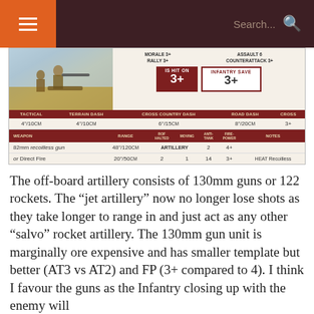☰  Search...  🔍
[Figure (other): Game card showing military unit stats: Morale 3+, Rally 3+, Assault 6, Counterattack 3+, Is Hit On 3+, Infantry Save 3+. Movement stats: Tactical 4"/10cm, Terrain Dash 4"/10cm, Cross Country Dash 6"/15cm, Road Dash 8"/20cm, Cross 3+. Weapon: 82mm recoilless gun, Range 48"/120cm, ROF Halted/Moving: Artillery, Anti-Tank 2, Fire-Power 4+; or Direct Fire Range 20"/50cm, ROF Halted 2, Moving 1, Anti-Tank 14, Fire-Power 3+, Notes: HEAT Recoilless. Illustration of soldier with artillery piece.]
The off-board artillery consists of 130mm guns or 122 rockets.  The “jet artillery” now no longer lose shots as they take longer to range in and just act as any other “salvo” rocket artillery. The 130mm gun unit is marginally ore expensive and has smaller template but better (AT3 vs AT2) and FP (3+ compared to 4).   I think I favour the guns as the Infantry closing up with the enemy will